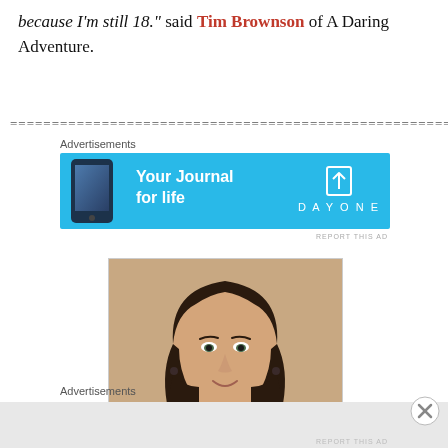because I'm still 18." said Tim Brownson of A Daring Adventure.
================================================
Advertisements
[Figure (illustration): Advertisement banner for Day One journal app. Sky blue background with a phone image on the left, white bold text 'Your Journal for life' in the center, and Day One logo (bookmark icon) with 'DAYONE' text on the right.]
REPORT THIS AD
[Figure (photo): Portrait photo of a woman with dark hair, smiling, against a beige/tan background. She is wearing dark earrings.]
Advertisements
REPORT THIS AD